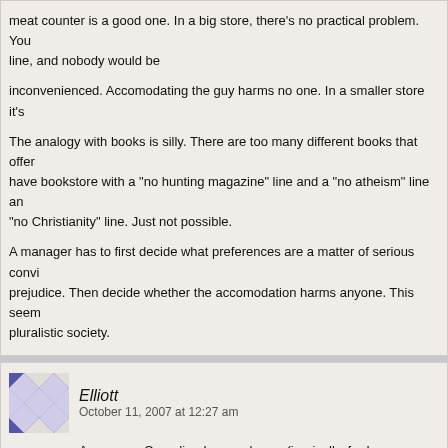meat counter is a good one. In a big store, there's no practical problem. You line, and nobody would be

inconvenienced. Accomodating the guy harms no one. In a smaller store it's

The analogy with books is silly. There are too many different books that offer have bookstore with a "no hunting magazine" line and a "no atheism" line an "no Christianity" line. Just not possible.

A manager has to first decide what preferences are a matter of serious convi prejudice. Then decide whether the accomodation harms anyone. This seem pluralistic society.
Elliott
October 11, 2007 at 12:27 am

As a smug Canadian I can only say (ironically, for I am an atheist)

"Thank [deity of choice] for the Liquor Control Board of Ontario!" The LCBO s dedicated to making the purchase of booze as pleasant and convenient as p our LCBO is an excellent argument for the un-privatizing of the liquor trade.
KD Player